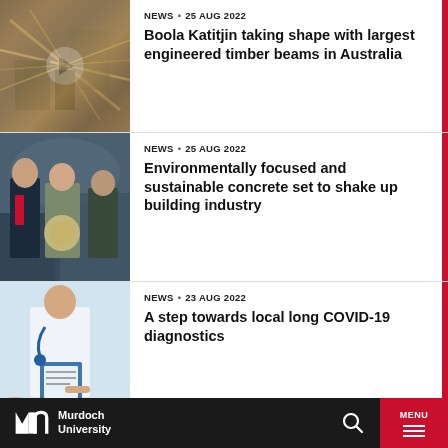[Figure (photo): Aerial/overhead view of a construction site with timber beams and machinery, with a play button overlay circle]
NEWS • 25 AUG 2022
Boola Katitjin taking shape with largest engineered timber beams in Australia
[Figure (photo): Group of people smiling, one holding a circular object, against a decorative background]
NEWS • 25 AUG 2022
Environmentally focused and sustainable concrete set to shake up building industry
[Figure (photo): Doctor in white coat with stethoscope writing on clipboard with patient's hands visible]
NEWS • 23 AUG 2022
A step towards local long COVID-19 diagnostics
Murdoch University — MENU